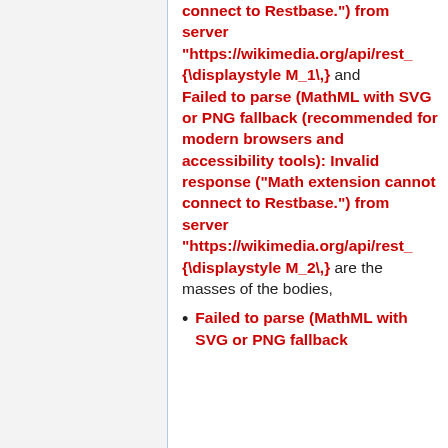connect to Restbase.") from server "https://wikimedia.org/api/rest_ {\displaystyle M_1\,} and Failed to parse (MathML with SVG or PNG fallback (recommended for modern browsers and accessibility tools): Invalid response ("Math extension cannot connect to Restbase.") from server "https://wikimedia.org/api/rest_ {\displaystyle M_2\,} are the masses of the bodies,
Failed to parse (MathML with SVG or PNG fallback